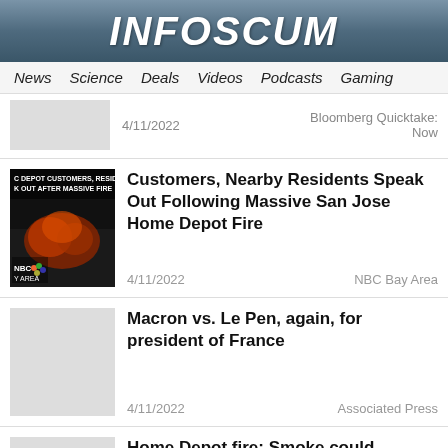INFOSCUM
News  Science  Deals  Videos  Podcasts  Gaming
4/11/2022   Bloomberg Quicktake: Now
Customers, Nearby Residents Speak Out Following Massive San Jose Home Depot Fire
4/11/2022   NBC Bay Area
Macron vs. Le Pen, again, for president of France
4/11/2022   Associated Press
Home Depot fire: Smoke could